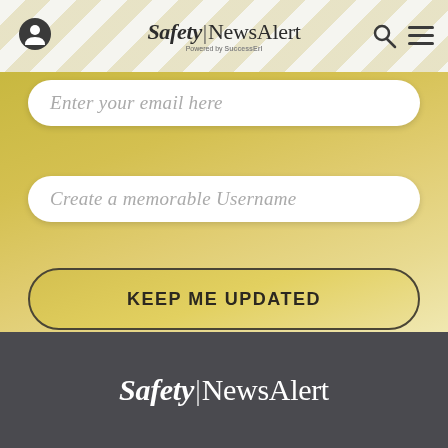Safety|NewsAlert — Powered by SuccessErl
Enter your email here
Create a memorable Username
KEEP ME UPDATED
Safety|NewsAlert